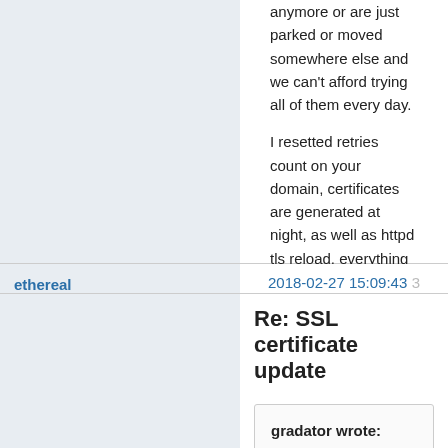anymore or are just parked or moved somewhere else and we can't afford trying all of them every day.

I resetted retries count on your domain, certificates are generated at night, as well as httpd tls reload, everything should be back tomorrow morning (Europe Timezone) ! :)

Sylvain
ethereal
2018-02-27 15:09:43
3
Re: SSL certificate update
gradator wrote:
We give up trying to generate the certificate after 90 days in order to prevent hitting Let's Encrypt rate limits on failed validations. We have hundreds of web areas on domains that do not exist